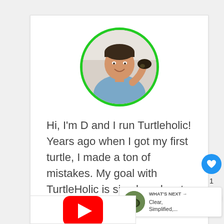[Figure (photo): Circular profile photo of a young man smiling and holding a small turtle, with a green circular border. Set inside a white card.]
Hi, I'm D and I run Turtleholic! Years ago when I got my first turtle, I made a ton of mistakes. My goal with TurtleHolic is simple: educate others to not make the same mistakes I did!
[Figure (infographic): Side buttons: blue heart icon with count '1' below it, and a share icon below that.]
WHAT'S NEXT → Clear, Simplified,...
[Figure (photo): Partial bottom card with a red YouTube play button icon visible at the bottom of the page.]